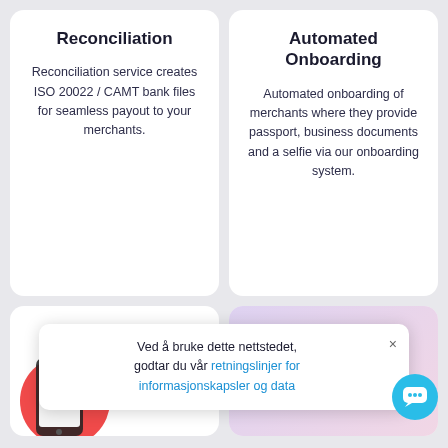Reconciliation
Reconciliation service creates ISO 20022 / CAMT bank files for seamless payout to your merchants.
Automated Onboarding
Automated onboarding of merchants where they provide passport, business documents and a selfie via our onboarding system.
[Figure (screenshot): Partial bottom-left card showing a red circle and phone graphic]
[Figure (screenshot): Partial bottom-right card showing purple/pink gradient]
Ved å bruke dette nettstedet, godtar du vår retningslinjer for informasjonskapsler og data